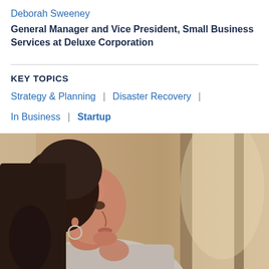Deborah Sweeney
General Manager and Vice President, Small Business Services at Deluxe Corporation
KEY TOPICS
Strategy & Planning
Disaster Recovery
In Business
Startup
[Figure (photo): A young woman with dark hair in a ponytail, wearing hoop earrings and a knit sweater, looking pensively out of a window. Warm indoor lighting with curtains in the background.]